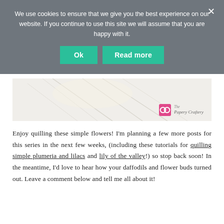We use cookies to ensure that we give you the best experience on our website. If you continue to use this site we will assume that you are happy with it.
[Figure (screenshot): Cookie consent banner with Ok and Read more buttons on a grey overlay background]
[Figure (photo): Close-up photo of white flower petals with The Papery Craftery logo/brand in bottom right corner]
Enjoy quilling these simple flowers! I'm planning a few more posts for this series in the next few weeks, (including these tutorials for quilling simple plumeria and lilacs and lily of the valley!) so stop back soon! In the meantime, I'd love to hear how your daffodils and flower buds turned out. Leave a comment below and tell me all about it!